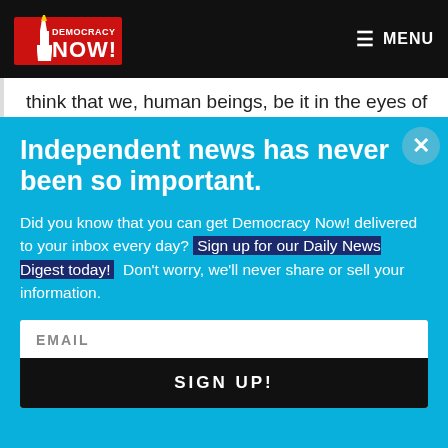Democracy Now! — MENU
think that we, human beings, be it in the eyes of God or in the eyes of the law, have the same value. This is
Independent news has never been so important.
Did you know that you can get Democracy Now! delivered to your inbox every day? Sign up for our Daily News Digest today! Don't worry, we'll never share or sell your information.
EMAIL
SIGN UP!